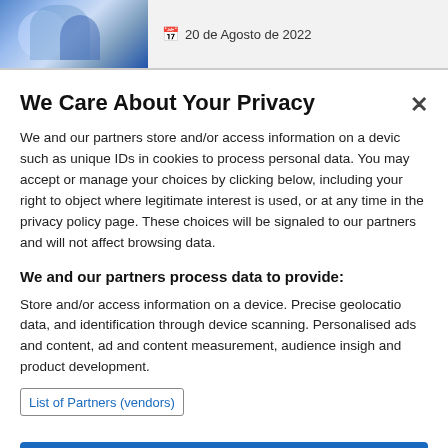20 de Agosto de 2022
We Care About Your Privacy
We and our partners store and/or access information on a device, such as unique IDs in cookies to process personal data. You may accept or manage your choices by clicking below, including your right to object where legitimate interest is used, or at any time in the privacy policy page. These choices will be signaled to our partners and will not affect browsing data.
We and our partners process data to provide:
Store and/or access information on a device. Precise geolocation data, and identification through device scanning. Personalised ads and content, ad and content measurement, audience insights and product development.
List of Partners (vendors)
I Accept